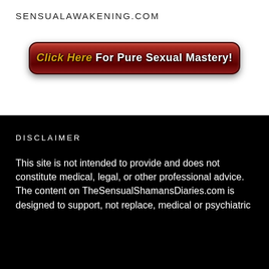SENSUALAWAKENING.COM
[Figure (other): Red rounded button with text: Click Here For Pure Sexual Mastery!]
DISCLAIMER
This site is not intended to provide and does not constitute medical, legal, or other professional advice. The content on TheSensualShamansDiaries.com is designed to support, not replace, medical or psychiatric